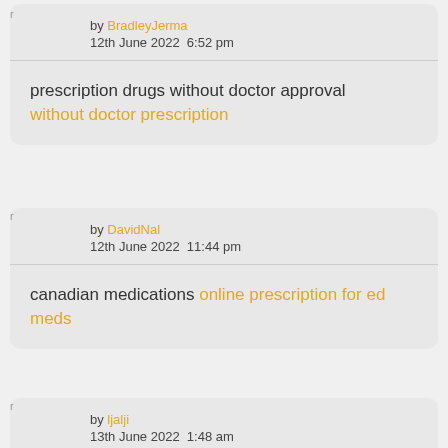by BradleyJerma
12th June 2022  6:52 pm
prescription drugs without doctor approval without doctor prescription
by DavidNal
12th June 2022  11:44 pm
canadian medications online prescription for ed meds
by ljalji
13th June 2022  1:48 am